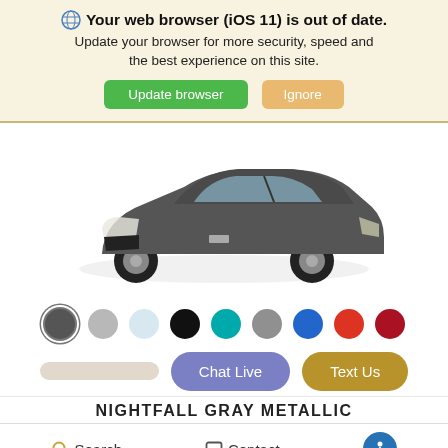🌐 Your web browser (iOS 11) is out of date. Update your browser for more security, speed and the best experience on this site.
[Figure (illustration): Dark gray Chevrolet Bolt EV electric hatchback car on white background, angled front-left view]
[Figure (infographic): Row of 9 color swatches for vehicle color selection: dark gray (selected/active), light gray, light blue/white, black, teal, medium gray, blue, orange-red, dark red]
Chat Live   Text Us
NIGHTFALL GRAY METALLIC
Search   Contact   Accessibility